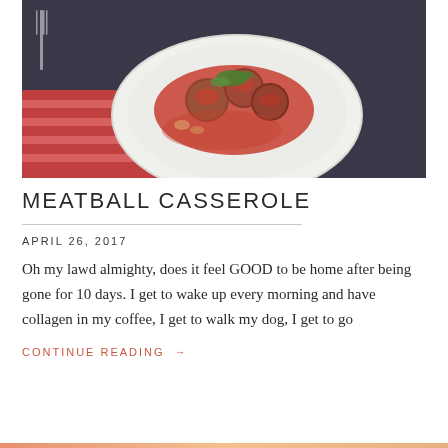[Figure (photo): A white plate with meatballs in tomato sauce garnished with fresh herbs, placed on a red and white striped cloth napkin on a dark blue surface. A fork is visible in the background.]
MEATBALL CASSEROLE
APRIL 26, 2017
Oh my lawd almighty, does it feel GOOD to be home after being gone for 10 days. I get to wake up every morning and have collagen in my coffee, I get to walk my dog, I get to go
CONTINUE READING →